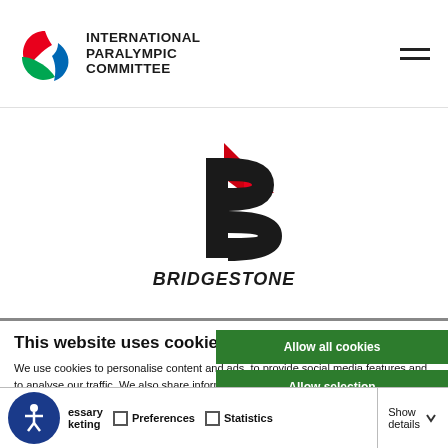INTERNATIONAL PARALYMPIC COMMITTEE
[Figure (logo): Bridgestone logo — red and black stylized B mark above the word BRIDGESTONE in bold italic black capitals]
This website uses cookies
We use cookies to personalise content and ads, to provide social media features and to analyse our traffic. We also share information about your use of our site with our social media, advertising and analytics partners who may combine it with other information that you've provided to them or that they've collected from your use of their services.
Allow all cookies
Allow selection
Use necessary cookies o
essary   Preferences   Statistics   Marketing   Show details